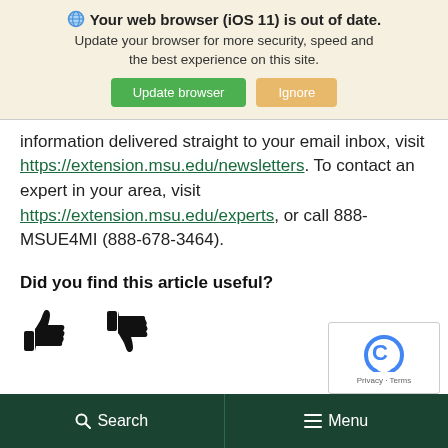[Figure (screenshot): Browser update warning banner with globe icon, bold title 'Your web browser (iOS 11) is out of date.', subtitle text, and two buttons: 'Update browser' (green) and 'Ignore' (tan/orange)]
information delivered straight to your email inbox, visit https://extension.msu.edu/newsletters. To contact an expert in your area, visit https://extension.msu.edu/experts, or call 888-MSUE4MI (888-678-3464).
Did you find this article useful?
[Figure (illustration): Thumbs up icon and thumbs down icon side by side]
[Figure (screenshot): reCAPTCHA widget with spinning C logo and Privacy - Terms text]
Search   Menu